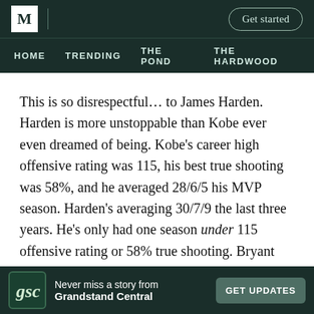M | Get started
HOME   TRENDING   THE POND   THE HARDWOOD
This is so disrespectful… to James Harden. Harden is more unstoppable than Kobe ever even dreamed of being. Kobe's career high offensive rating was 115, his best true shooting was 58%, and he averaged 28/6/5 his MVP season. Harden's averaging 30/7/9 the last three years. He's only had one season under 115 offensive rating or 58% true shooting. Bryant was a lot of things, but James Harden is a more unstoppable offensive force
Never miss a story from Grandstand Central   GET UPDATES